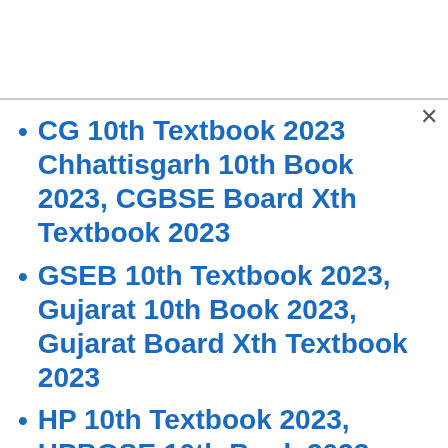CG 10th Textbook 2023 Chhattisgarh 10th Book 2023, CGBSE Board Xth Textbook 2023
GSEB 10th Textbook 2023, Gujarat 10th Book 2023, Gujarat Board Xth Textbook 2023
HP 10th Textbook 2023, HPBOSE 10th Book 2023, Himachal Pradesh